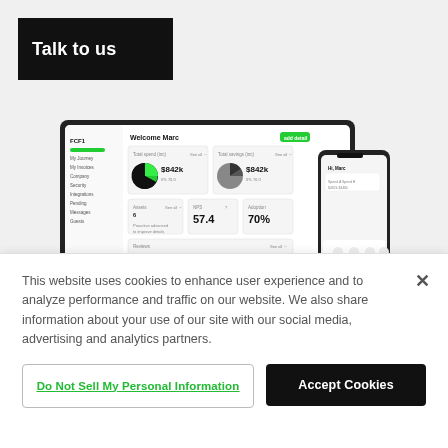Talk to us
[Figure (screenshot): Dashboard screenshot showing a financial analytics interface on laptop and mobile, with pie charts showing $842k total spend and $842k total savings, NPS score 57.4, adoption 70%, and user reviews.]
This website uses cookies to enhance user experience and to analyze performance and traffic on our website. We also share information about your use of our site with our social media, advertising and analytics partners.
Do Not Sell My Personal Information
Accept Cookies